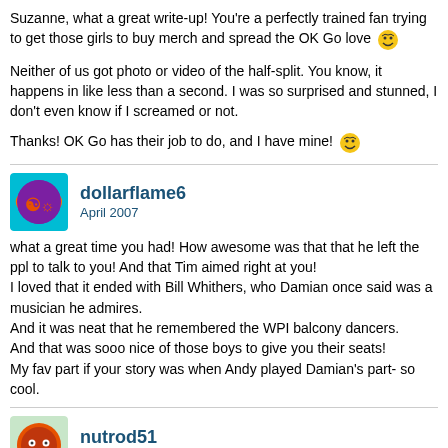Suzanne, what a great write-up! You're a perfectly trained fan trying to get those girls to buy merch and spread the OK Go love 😄
Neither of us got photo or video of the half-split. You know, it happens in like less than a second. I was so surprised and stunned, I don't even know if I screamed or not.
Thanks! OK Go has their job to do, and I have mine! 😄
dollarflame6
April 2007
what a great time you had! How awesome was that that he left the ppl to talk to you! And that Tim aimed right at you!
I loved that it ended with Bill Whithers, who Damian once said was a musician he admires.
And it was neat that he remembered the WPI balcony dancers.
And that was sooo nice of those boys to give you their seats!
My fav part if your story was when Andy played Damian's part- so cool.
nutrod51
April 2007
QUOTE (sureeyesawake @ Apr 29 2007, 01:31 AM)